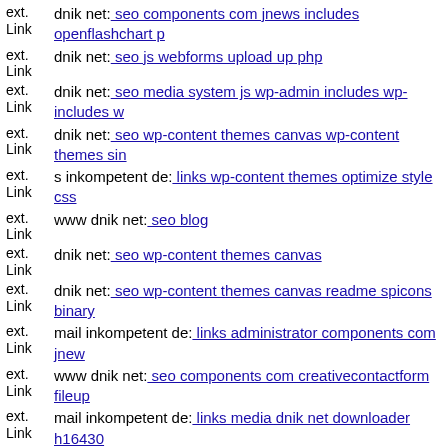ext. Link dnik net: seo components com jnews includes openflashchart p
ext. Link dnik net: seo js webforms upload up php
ext. Link dnik net: seo media system js wp-admin includes wp-includes w
ext. Link dnik net: seo wp-content themes canvas wp-content themes sin
ext. Link s inkompetent de: links wp-content themes optimize style css
ext. Link www dnik net: seo blog
ext. Link dnik net: seo wp-content themes canvas
ext. Link dnik net: seo wp-content themes canvas readme spicons binary
ext. Link mail inkompetent de: links administrator components com jnew
ext. Link www dnik net: seo components com creativecontactform fileup
ext. Link mail inkompetent de: links media dnik net downloader h16430
ext. Link ...